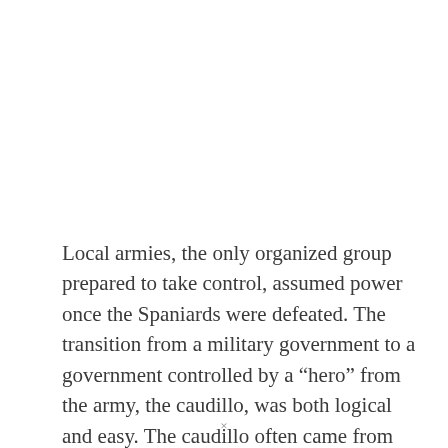Local armies, the only organized group prepared to take control, assumed power once the Spaniards were defeated. The transition from a military government to a government controlled by a “hero” from the army, the caudillo, was both logical and easy. The caudillo often came from the creole aristocracy, which was supported by
×